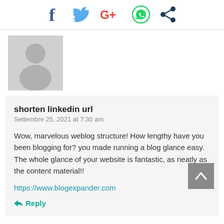[Figure (infographic): Social media share icons: Facebook (dark blue f), Twitter (light blue bird), Google+ (red G+), WhatsApp (green phone), Share (dark blue dots)]
[Figure (photo): Gray placeholder avatar with person silhouette]
shorten linkedin url
Settembre 25, 2021 at 7:30 am
Wow, marvelous weblog structure! How lengthy have you been blogging for? you made running a blog glance easy. The whole glance of your website is fantastic, as neatly as the content material!!
https://www.blogexpander.com
Reply